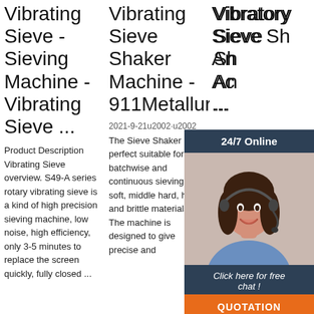Vibrating Sieve - Sieving Machine - Vibrating Sieve ...
Product Description Vibrating Sieve overview. S49-A series rotary vibrating sieve is a kind of high precision sieving machine, low noise, high efficiency, only 3-5 minutes to replace the screen quickly, fully closed ...
Vibrating Sieve Shaker Machine - 911Metallurgy
2021-9-21u2002·u2002The Sieve Shaker is perfect suitable for the batchwise and continuous sieving of soft, middle hard, hard and brittle materials. The machine is designed to give precise and
Vibratory Sieve Shaker Analysette 3 PRO ...
The Vibratory Sieve Shaker Analysette 3 PRO is delivered incl. tensioning and the software AUTOSIEVE (90 day test version free of charge). Please note: For this
[Figure (infographic): Customer service widget overlay showing '24/7 Online' header in dark blue, a photo of a female customer service representative wearing a headset and smiling, a dark blue panel with italic text 'Click here for free chat!', and an orange button labeled 'QUOTATION']